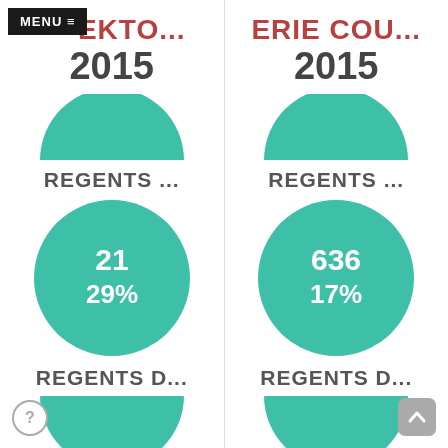MENU ≡ EKTO...
2015
[Figure (donut-chart): Top half-circle teal shape (partial donut/pie for left column)]
REGENTS ...
[Figure (donut-chart): Regents]
REGENTS D...
[Figure (donut-chart): Bottom partial circle teal for left column]
ERIE COU...
2015
[Figure (donut-chart): Top half-circle teal shape (partial donut/pie for right column)]
REGENTS ...
[Figure (donut-chart): Regents]
REGENTS D...
[Figure (donut-chart): Bottom partial circle teal for right column]